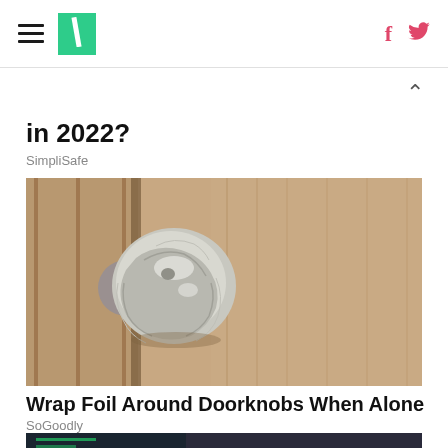HuffPost — with hamburger menu, logo, Facebook and Twitter icons
in 2022?
SimpliSafe
[Figure (photo): Close-up photo of a door knob wrapped in crinkled aluminum foil, on a beige/tan paneled door]
Wrap Foil Around Doorknobs When Alone
SoGoodly
[Figure (photo): Partial photo of a person — bottom portion cut off at page edge]